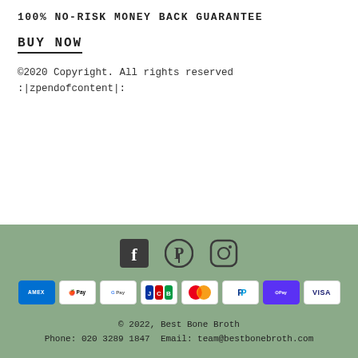100% NO-RISK MONEY BACK GUARANTEE
BUY NOW
©2020 Copyright. All rights reserved
:|zpendofcontent|:
[Figure (infographic): Social media icons: Facebook, Pinterest, Instagram]
[Figure (infographic): Payment method icons: AMEX, Apple Pay, Google Pay, JCB, Mastercard, PayPal, Shop Pay, Visa]
© 2022, Best Bone Broth
Phone: 020 3289 1847  Email: team@bestbonebroth.com